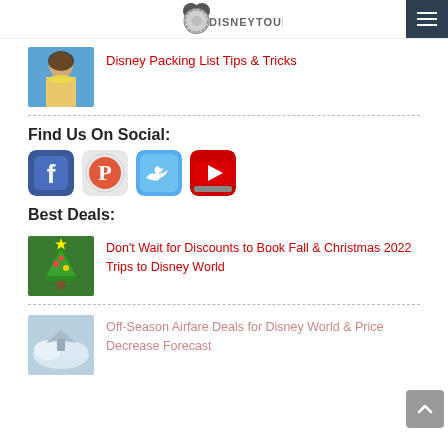DISNEYTOURISTBLOG
[Figure (photo): Thumbnail photo of a woman with a yellow lei at a Disney park]
Disney Packing List Tips & Tricks
Find Us On Social:
[Figure (illustration): Social media icons: Facebook, Pinterest, Twitter, YouTube]
Best Deals:
[Figure (photo): Thumbnail of a Christmas-decorated Disney tree]
Don't Wait for Discounts to Book Fall & Christmas 2022 Trips to Disney World
[Figure (photo): Thumbnail of an airplane in clouds]
Off-Season Airfare Deals for Disney World & Price Decrease Forecast